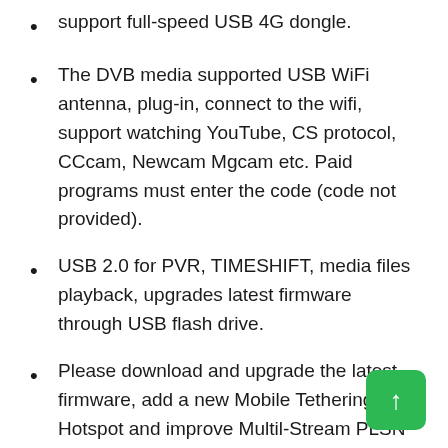support full-speed USB 4G dongle.
The DVB media supported USB WiFi antenna, plug-in, connect to the wifi, support watching YouTube, CS protocol, CCcam, Newcam Mgcam etc. Paid programs must enter the code (code not provided).
USB 2.0 for PVR, TIMESHIFT, media files playback, upgrades latest firmware through USB flash drive.
Please download and upgrade the latest firmware, add a new Mobile Tethering Hotspot and improve Multil-Stream PLSN function.